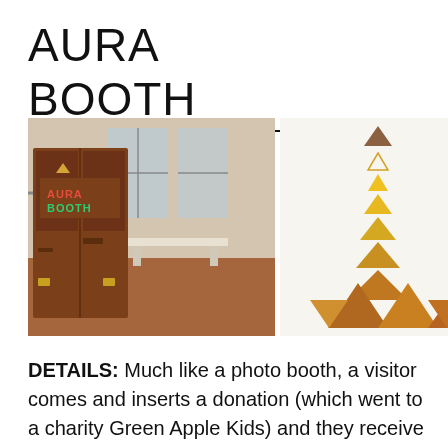AURA BOOTH
[Figure (photo): Two side-by-side photos: left shows the Aura Booth enclosure (a brown/wooden box-like structure with 'AURA BOOTH' text on it, inside what appears to be a museum or gallery space); right shows a geometric art piece made of triangles arranged in a descending pattern in shades of gold, yellow, and orange on a white wall.]
DETAILS: Much like a photo booth, a visitor comes and inserts a donation (which went to a charity Green Apple Kids) and they receive strip of four images of themselves, only instead